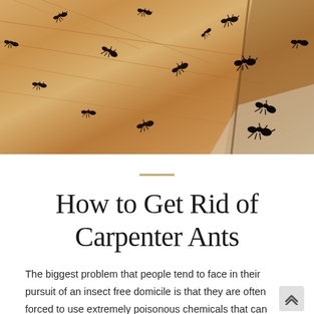[Figure (photo): Close-up photo of numerous carpenter ants crawling on light-colored wooden planks/boards, showing a large infestation with many dark brown/black ants visible against the pale wood grain surface.]
How to Get Rid of Carpenter Ants
The biggest problem that people tend to face in their pursuit of an insect free domicile is that they are often forced to use extremely poisonous chemicals that can